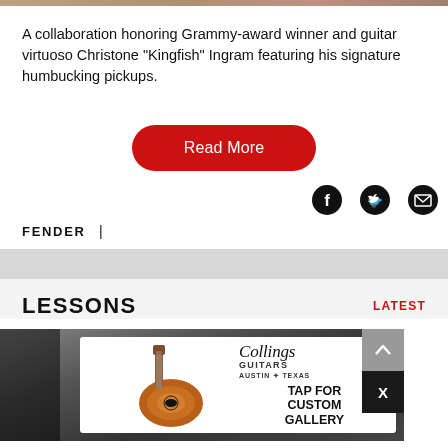A collaboration honoring Grammy-award winner and guitar virtuoso Christone "Kingfish" Ingram featuring his signature humbucking pickups.
Read More
[Figure (infographic): Social media share icons: Facebook, Twitter, Email]
FENDER |
LESSONS
LATEST
[Figure (photo): Photo of guitar lesson setting with Collings Guitars advertisement overlay. Ad shows acoustic guitar and text: Collings Guitars Austin Texas — TAP FOR CUSTOM GALLERY]